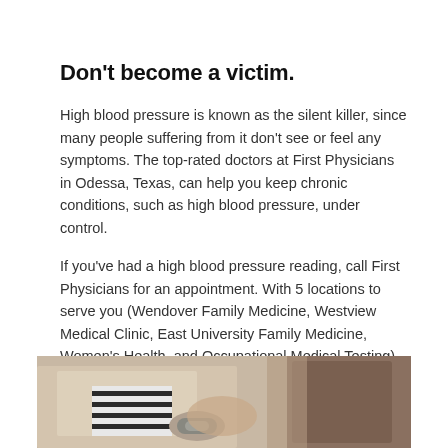Don't become a victim.
High blood pressure is known as the silent killer, since many people suffering from it don't see or feel any symptoms. The top-rated doctors at First Physicians in Odessa, Texas, can help you keep chronic conditions, such as high blood pressure, under control.
If you've had a high blood pressure reading, call First Physicians for an appointment. With 5 locations to serve you (Wendover Family Medicine, Westview Medical Clinic, East University Family Medicine, Women's Health, and Occupational Medical Testing), expert care is nearby for all your medical needs.
[Figure (photo): Partial photo of a person wearing a beige knit sweater with a striped shirt underneath, holding a blood pressure cuff on their wrist, and another person partially visible to the right.]